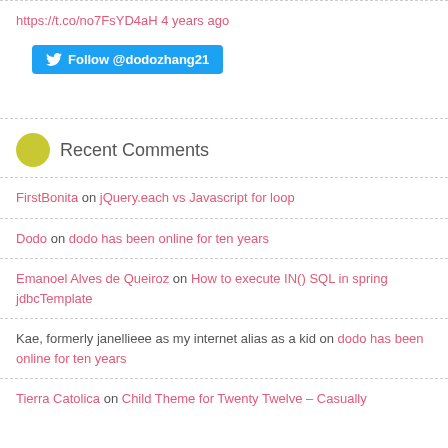https://t.co/no7FsYD4aH 4 years ago
Follow @dodozhang21
Recent Comments
FirstBonita on jQuery.each vs Javascript for loop
Dodo on dodo has been online for ten years
Emanoel Alves de Queiroz on How to execute IN() SQL in spring jdbcTemplate
Kae, formerly janellieee as my internet alias as a kid on dodo has been online for ten years
Tierra Catolica on Child Theme for Twenty Twelve – Casually